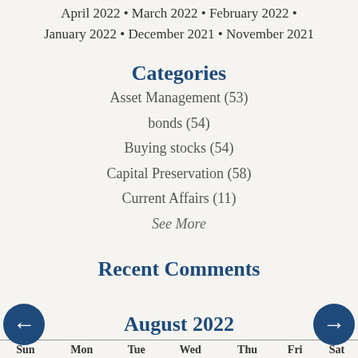April 2022 • March 2022 • February 2022 • January 2022 • December 2021 • November 2021
Categories
Asset Management (53)
bonds (54)
Buying stocks (54)
Capital Preservation (58)
Current Affairs (11)
See More
Recent Comments
August 2022
| Sun | Mon | Tue | Wed | Thu | Fri | Sat |
| --- | --- | --- | --- | --- | --- | --- |